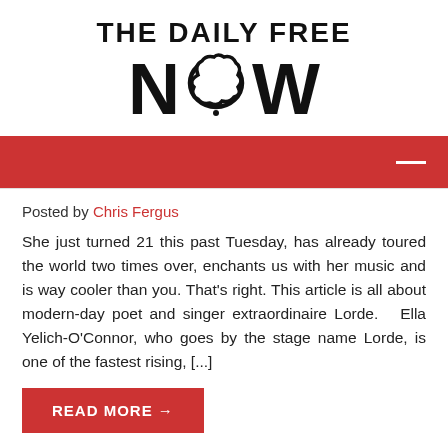[Figure (logo): The Daily Free NOW logo with large bold text and a cloud/thought bubble replacing the 'O' in NOW]
[Figure (other): Red navigation bar with hamburger menu icon on the right]
Posted by Chris Fergus
She just turned 21 this past Tuesday, has already toured the world two times over, enchants us with her music and is way cooler than you. That’s right. This article is all about modern-day poet and singer extraordinaire Lorde.   Ella Yelich-O’Connor, who goes by the stage name Lorde, is one of the fastest rising, [...]
READ MORE →